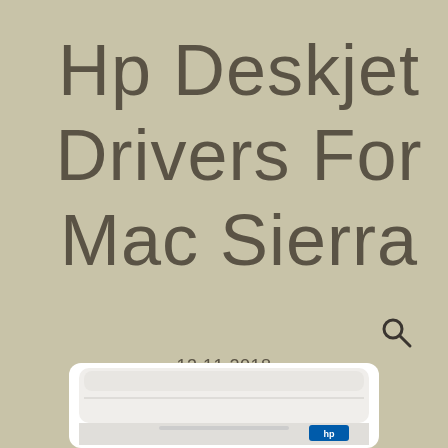Hp Deskjet Drivers For Mac Sierra
[Figure (other): Search/magnifying glass icon]
13.11.2018
[Figure (photo): HP Deskjet printer, white/light grey color, top view angle, shown at bottom of page]